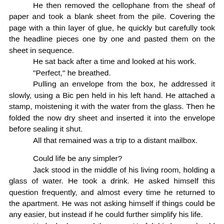He then removed the cellophane from the sheaf of paper and took a blank sheet from the pile.  Covering the page with a thin layer of glue, he quickly but carefully took the headline pieces one by one and pasted them on the sheet in sequence.
He sat back after a time and looked at his work.
"Perfect," he breathed.
Pulling an envelope from the box, he addressed it slowly, using a Bic pen held in his left hand.  He attached a stamp, moistening it with the water from the glass.  Then he folded the now dry sheet and inserted it into the envelope before sealing it shut.
All that remained was a trip to a distant mailbox.
Could life be any simpler?
Jack stood in the middle of his living room, holding a glass of water.  He took a drink.  He asked himself this question frequently, and almost every time he returned to the apartment.  He was not asking himself if things could be any easier, but instead if he could further simplify his life.
He looked around the room.  He felt his home should reflect his state of mind, much like a Zen garden reflected the level of enlightenment of a Zen master.
It was furnished simply, with low wood furniture and hardwood floors.  The walls were dark and there was a desk